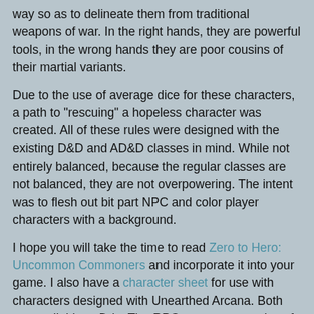way so as to delineate them from traditional weapons of war. In the right hands, they are powerful tools, in the wrong hands they are poor cousins of their martial variants.
Due to the use of average dice for these characters, a path to "rescuing" a hopeless character was created. All of these rules were designed with the existing D&D and AD&D classes in mind. While not entirely balanced, because the regular classes are not balanced, they are not overpowering. The intent was to flesh out bit part NPC and color player characters with a background.
I hope you will take the time to read Zero to Hero: Uncommon Commoners and incorporate it into your game. I also have a character sheet for use with characters designed with Unearthed Arcana. Both are available at DriveThruRPG at a suggest price of $0.99 or PWYW.
Phil Viverito at 5/27/2019 11:17:00 AM
Share
No comments: